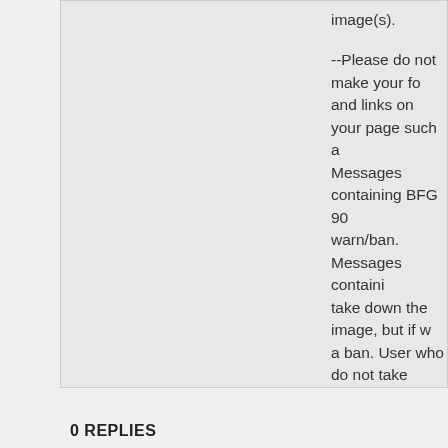image(s).
--Please do not make your fo and links on your page such a Messages containing BFG 90 warn/ban. Messages containi take down the image, but if w a ban. User who do not take another, leading up to a perm text.
--Users who post in colors, bi a merit will be ignored.
--The HTML code can (proba with complete swearing.
--HTML that compromises the ban (and a permanent if conti
0 REPLIES